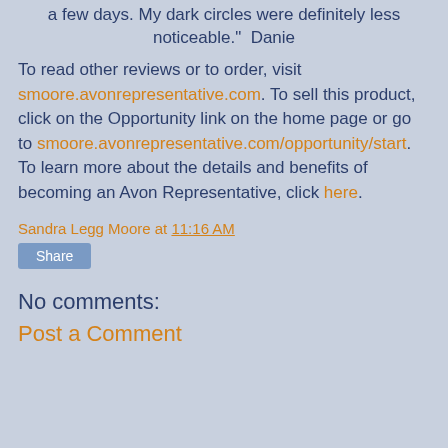a few days. My dark circles were definitely less noticeable." Danie
To read other reviews or to order, visit smoore.avonrepresentative.com. To sell this product, click on the Opportunity link on the home page or go to smoore.avonrepresentative.com/opportunity/start. To learn more about the details and benefits of becoming an Avon Representative, click here.
Sandra Legg Moore at 11:16 AM
Share
No comments:
Post a Comment